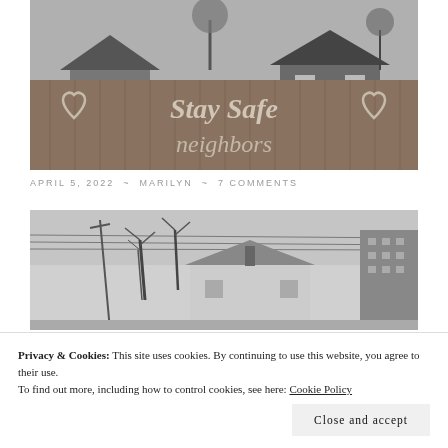[Figure (photo): Black and white photo of a wooden fence with chalk writing 'Stay Safe neighbors' and heart symbols, with residential houses visible above the fence, bare trees in background.]
APRIL 5, 2022 ~ MARILYN ~ 7 COMMENTS
[Figure (photo): Black and white photo of a neighborhood streetscape showing a white house with a peaked roof and chimney, bare trees, power lines, and a tall apartment building in the background.]
Privacy & Cookies: This site uses cookies. By continuing to use this website, you agree to their use.
To find out more, including how to control cookies, see here: Cookie Policy